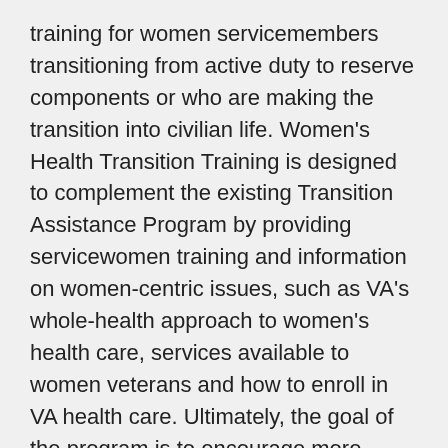training for women servicemembers transitioning from active duty to reserve components or who are making the transition into civilian life. Women's Health Transition Training is designed to complement the existing Transition Assistance Program by providing servicewomen training and information on women-centric issues, such as VA's whole-health approach to women's health care, services available to women veterans and how to enroll in VA health care. Ultimately, the goal of the program is to encourage more women to see that there is a place for them in the VA health-care system by educating them on the services that VA has to offer.
The Women's Health Transition Training is led by a woman veteran who uses VA health care and consists of five phases: